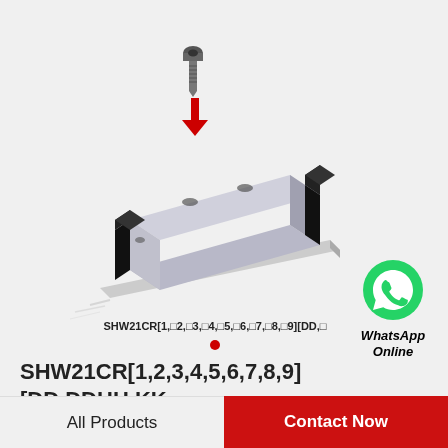[Figure (illustration): Linear motion guide rail carriage block (SHW21CR series) shown in 3D perspective view, with a hex socket cap screw above it and a red downward arrow indicating screw insertion. The block is rectangular with black end caps and silver body, sitting on a rail.]
SHW21CR[1,□2,□3,□4,□5,□6,□7,□8,□9][DD,□
[Figure (logo): WhatsApp green circle logo icon]
WhatsApp Online
SHW21CR[1,2,3,4,5,6,7,8,9][DD,DDHH,KK,KKHH,SS,SSHH,UU,ZZ,ZZHH]C1+[60-...